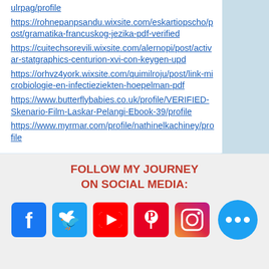ulrpag/profile
https://rohnepanpsandu.wixsite.com/eskartiopscho/post/gramatika-francuskog-jezika-pdf-verified
https://cuitechsorevili.wixsite.com/alernopi/post/activar-statgraphics-centurion-xvi-con-keygen-upd
https://orhvz4york.wixsite.com/quimilroju/post/link-microbiologie-en-infectieziekten-hoepelman-pdf
https://www.butterflybabies.co.uk/profile/VERIFIED-Skenario-Film-Laskar-Pelangi-Ebook-39/profile
https://www.myrmar.com/profile/nathinelkachiney/profile
FOLLOW MY JOURNEY ON SOCIAL MEDIA:
[Figure (infographic): Social media icons: Facebook, Twitter, YouTube, Pinterest, Instagram, plus a chat bubble icon]